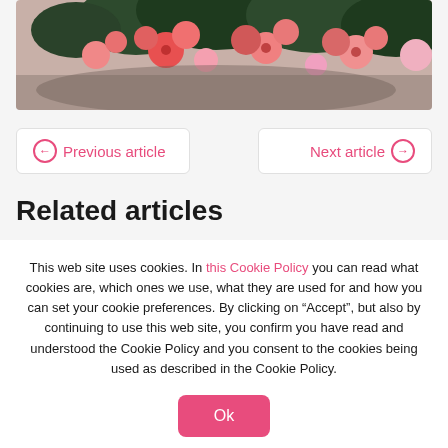[Figure (photo): Photo of pink and red flowers with dark green leaves, partial top view]
Previous article
Next article
Related articles
This web site uses cookies. In this Cookie Policy you can read what cookies are, which ones we use, what they are used for and how you can set your cookie preferences. By clicking on “Accept”, but also by continuing to use this web site, you confirm you have read and understood the Cookie Policy and you consent to the cookies being used as described in the Cookie Policy.
Ok